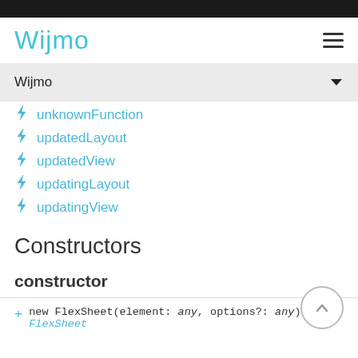Wijmo
Wijmo
unknownFunction
updatedLayout
updatedView
updatingLayout
updatingView
Constructors
constructor
new FlexSheet(element: any, options?: any): FlexSheet